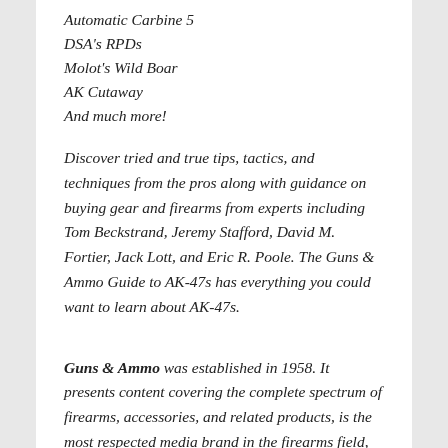Automatic Carbine 5
DSA's RPDs
Molot's Wild Boar
AK Cutaway
And much more!
Discover tried and true tips, tactics, and techniques from the pros along with guidance on buying gear and firearms from experts including Tom Beckstrand, Jeremy Stafford, David M. Fortier, Jack Lott, and Eric R. Poole. The Guns & Ammo Guide to AK-47s has everything you could want to learn about AK-47s.
Guns & Ammo was established in 1958. It presents content covering the complete spectrum of firearms, accessories, and related products, is the most respected media brand in the firearms field, and reaches more than a million visitors a month online and 10.8 million readers in print.